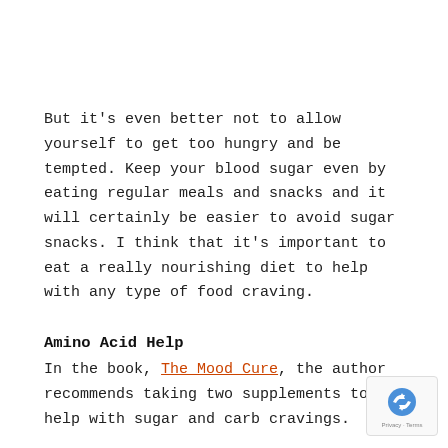But it's even better not to allow yourself to get too hungry and be tempted. Keep your blood sugar even by eating regular meals and snacks and it will certainly be easier to avoid sugar snacks. I think that it's important to eat a really nourishing diet to help with any type of food craving.
Amino Acid Help
In the book, The Mood Cure, the author recommends taking two supplements to help with sugar and carb cravings.